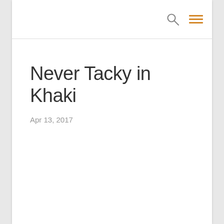Never Tacky in Khaki
Apr 13, 2017